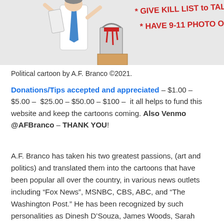[Figure (illustration): Political cartoon illustration showing a figure in a white shirt and blue tie holding a dripping red paint bucket, with text in red handwriting reading '* GIVE KILL LIST TO TALIBAN * HAVE 9-11 PHOTO OPP']
Political cartoon by A.F. Branco ©2021.
Donations/Tips accepted and appreciated – $1.00 – $5.00 – $25.00 – $50.00 – $100 – it all helps to fund this website and keep the cartoons coming. Also Venmo @AFBranco – THANK YOU!
A.F. Branco has taken his two greatest passions, (art and politics) and translated them into the cartoons that have been popular all over the country, in various news outlets including "Fox News", MSNBC, CBS, ABC, and "The Washington Post." He has been recognized by such personalities as Dinesh D'Souza, James Woods, Sarah Palin, Larry Elder, Lars Larson, Rush Limbaugh, and